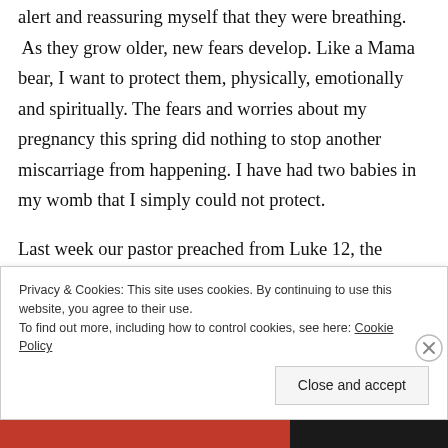alert and reassuring myself that they were breathing. As they grow older, new fears develop. Like a Mama bear, I want to protect them, physically, emotionally and spiritually. The fears and worries about my pregnancy this spring did nothing to stop another miscarriage from happening. I have had two babies in my womb that I simply could not protect.
Last week our pastor preached from Luke 12, the
Privacy & Cookies: This site uses cookies. By continuing to use this website, you agree to their use.
To find out more, including how to control cookies, see here: Cookie Policy
Close and accept